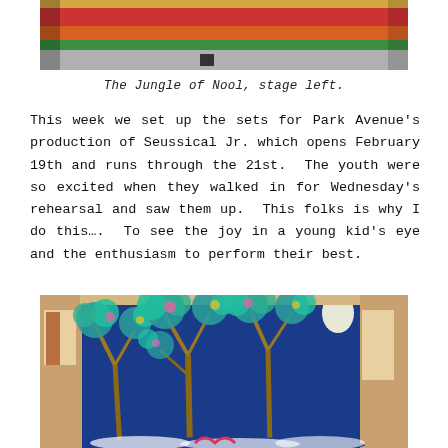[Figure (photo): Partial view of colorful stage set with horizontal bands of yellow, red, orange, green and grey — the Jungle of Nool set for Seussical Jr., stage left]
The Jungle of Nool, stage left.
This week we set up the sets for Park Avenue's production of Seussical Jr. which opens February 19th and runs through the 21st.  The youth were so excited when they walked in for Wednesday's rehearsal and saw them up.  This folks is why I do this….  To see the joy in a young kid's eye and the enthusiasm to perform their best.
[Figure (photo): Stage set piece showing a deep blue backdrop with colorful Seussical-style trees painted in teal and pink/yellow tones, with a warm-toned room visible in the background and a white globe lamp on the right]